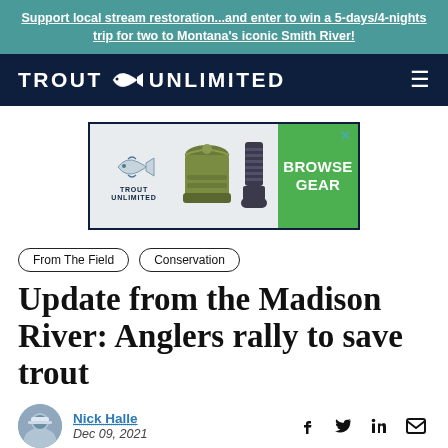Support local stream restoration...and enter to win a 5-days/4-nights trip for two to Montana's iconic Smith River!
[Figure (logo): Trout Unlimited logo on dark navy navigation bar with hamburger menu icon on right]
[Figure (other): Trout Unlimited advertisement banner showing a green beanie hat, striped socks, TU fish logo, and a green 'BROWSE GEAR' button]
From The Field
Conservation
Update from the Madison River: Anglers rally to save trout
Nick Halle
Dec 09, 2021